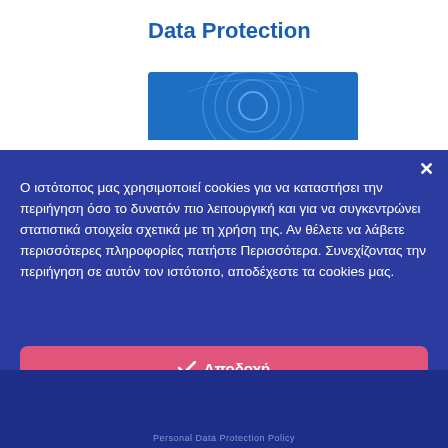Data Protection
[Figure (illustration): Blue banner image with concentric arc/circle decorations in lighter blue tones]
Ο ιστότοπος μας χρησιμοποιεί cookies για να καταστήσει την περιήγηση όσο το δυνατόν πιο λειτουργική και για να συγκεντρώνει στατιστικά στοιχεία σχετικά με τη χρήση της. Αν θέλετε να λάβετε περισσότερες πληροφορίες πατήστε Περισσότερα. Συνεχίζοντας την περιήγηση σε αυτόν τον ιστότοπο, αποδέχεστε τα cookies μας.
✓ Αποδοχή
Περισσότερα →
Ρυθμίσεις ⚙
Personal Data Protection Policy